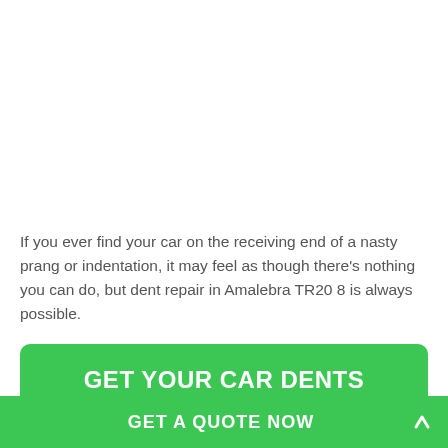If you ever find your car on the receiving end of a nasty prang or indentation, it may feel as though there's nothing you can do, but dent repair in Amalebra TR20 8 is always possible.
GET YOUR CAR DENTS REPAIRED
Dents can occur for a variety of reasons. But, in any case, it's worthwhile bearing in mind that getting your dents
GET A QUOTE NOW